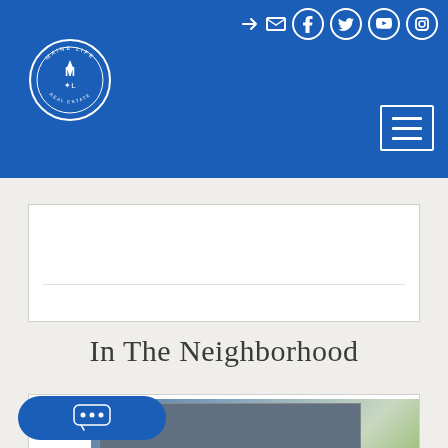[Figure (screenshot): Maine Life Real Estate website header with blue background, circular logo on left, social media icons (login, email, Facebook, Twitter, YouTube, Instagram) on top right, and hamburger menu button on bottom right]
[Figure (other): Partial white card with a horizontal dividing line near the bottom, on a light gray background]
In The Neighborhood
[Figure (photo): Partial view of a house listing card showing a gray two-story home with white trim, porch railing, and trees in the background]